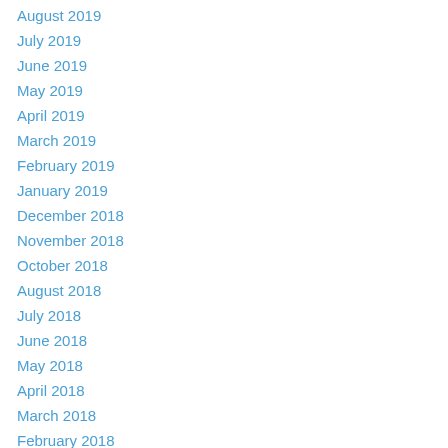August 2019
July 2019
June 2019
May 2019
April 2019
March 2019
February 2019
January 2019
December 2018
November 2018
October 2018
August 2018
July 2018
June 2018
May 2018
April 2018
March 2018
February 2018
January 2018
December 2017